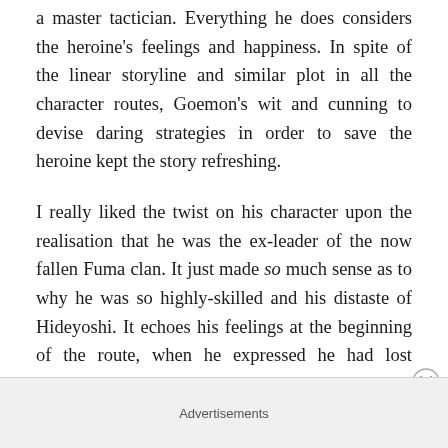a master tactician. Everything he does considers the heroine's feelings and happiness. In spite of the linear storyline and similar plot in all the character routes, Goemon's wit and cunning to devise daring strategies in order to save the heroine kept the story refreshing.
I really liked the twist on his character upon the realisation that he was the ex-leader of the now fallen Fuma clan. It just made so much sense as to why he was so highly-skilled and his distaste of Hideyoshi. It echoes his feelings at the beginning of the route, when he expressed he had lost everything in the past and why he now chooses a peaceful life outside of the battlefield. It was a surprising revelation that added an extra
Advertisements